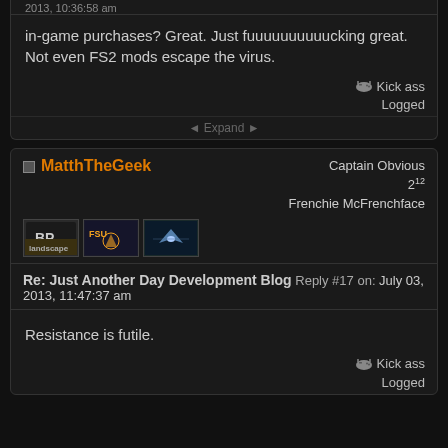2013, 10:36:58 am
in-game purchases? Great. Just fuuuuuuuuuucking great. Not even FS2 mods escape the virus.
Kick ass
Logged
◄ Expand ►
MatthTheGeek
Captain Obvious
2^12
Frenchie McFrenchface
Re: Just Another Day Development Blog   Reply #17 on: July 03, 2013, 11:47:37 am
Resistance is futile.
Kick ass
Logged